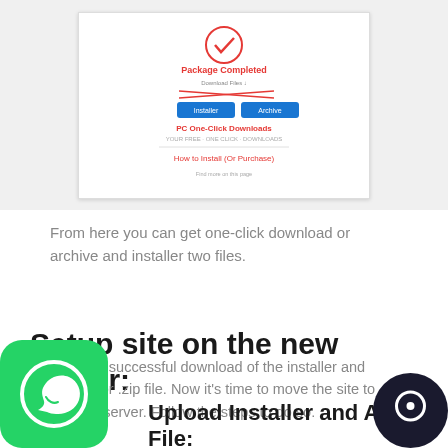[Figure (screenshot): Screenshot of a website showing a package completed download page with installer and archive buttons, and a one-click download section.]
From here you can get one-click download or archive and installer two files.
Setup site on the new server:
After the successful download of the installer and archive or .zip file. Now it's time to move the site to another server. Follow the steps to do so.
Upload Installer and Archive File: